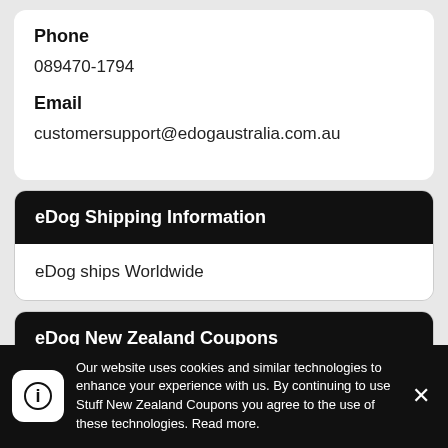Phone
089470-1794
Email
customersupport@edogaustralia.com.au
eDog Shipping Information
eDog ships Worldwide
eDog New Zealand Coupons
Our website uses cookies and similar technologies to enhance your experience with us. By continuing to use Stuff New Zealand Coupons you agree to the use of these technologies. Read more.